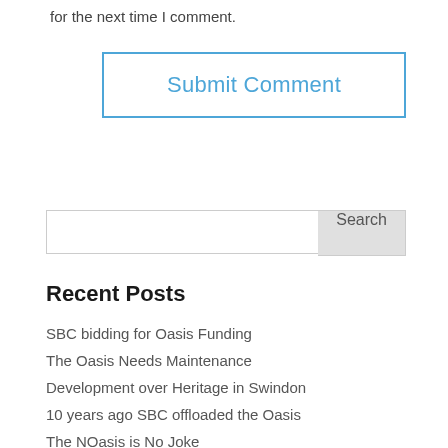for the next time I comment.
Submit Comment
Search
Recent Posts
SBC bidding for Oasis Funding
The Oasis Needs Maintenance
Development over Heritage in Swindon
10 years ago SBC offloaded the Oasis
The NOasis is No Joke